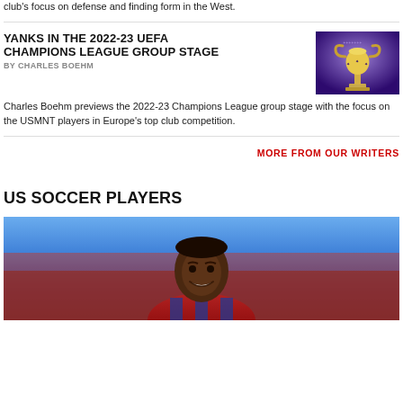club's focus on defense and finding form in the West.
YANKS IN THE 2022-23 UEFA CHAMPIONS LEAGUE GROUP STAGE
BY CHARLES BOEHM
[Figure (photo): UEFA Champions League trophy lit in blue and purple light]
Charles Boehm previews the 2022-23 Champions League group stage with the focus on the USMNT players in Europe's top club competition.
MORE FROM OUR WRITERS
US SOCCER PLAYERS
[Figure (photo): A smiling US soccer player wearing a red and blue jersey, crowd in background]